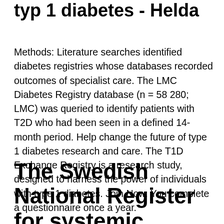typ 1 diabetes - Helda
Methods: Literature searches identified diabetes registries whose databases recorded outcomes of specialist care. The LMC Diabetes Registry database (n = 58 280; LMC) was queried to identify patients with T2D who had been seen in a defined 14-month period. Help change the future of type 1 diabetes research and care. The T1D Exchange Registry is a research study, designed to harness the power of individuals with type 1 diabetes. Join Now. You complete a questionnaire once a year.
The Swedish National Register for systemic